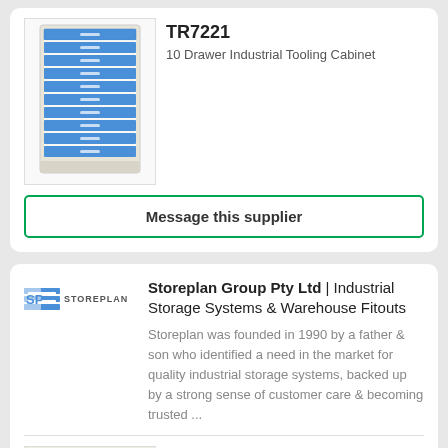[Figure (photo): 10 Drawer Industrial Tooling Cabinet with blue drawers and beige/grey body]
TR7221
10 Drawer Industrial Tooling Cabinet
Message this supplier
[Figure (logo): Storeplan Group logo with blue horizontal lines and SP letters]
Storeplan Group Pty Ltd | Industrial Storage Systems & Warehouse Fitouts
Storeplan was founded in 1990 by a father & son who identified a need in the market for quality industrial storage systems, backed up by a strong sense of customer care & becoming trusted ...
High Density Cabinets
High Density Cabinets
[Figure (photo): High Density Cabinets shelving photo]